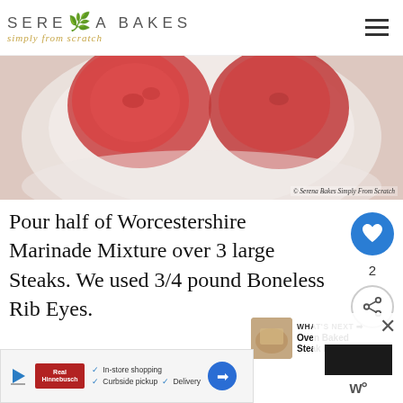SERENA BAKES simply from scratch
[Figure (photo): Close-up photo of tomatoes on a white plate, with copyright watermark: © Serena Bakes Simply From Scratch]
Pour half of Worcestershire Marinade Mixture over 3 large Steaks. We used 3/4 pound Boneless Rib Eyes.
WHAT'S NEXT → Oven Baked Steak Burritos
Sprinkle over Steaks:
[Figure (screenshot): Advertisement banner showing In-store shopping, Curbside pickup, Delivery options with a blue navigation arrow sign]